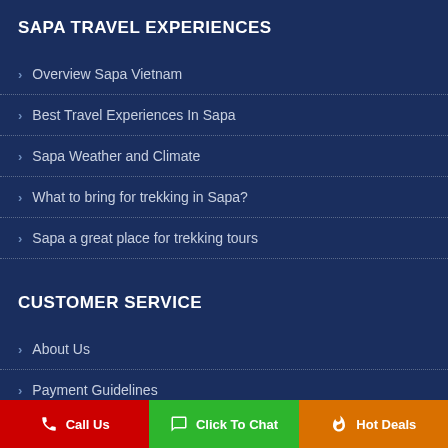SAPA TRAVEL EXPERIENCES
Overview Sapa Vietnam
Best Travel Experiences In Sapa
Sapa Weather and Climate
What to bring for trekking in Sapa?
Sapa a great place for trekking tours
CUSTOMER SERVICE
About Us
Payment Guidelines
How to book?
Call Us  Click To Chat  Hot Deals